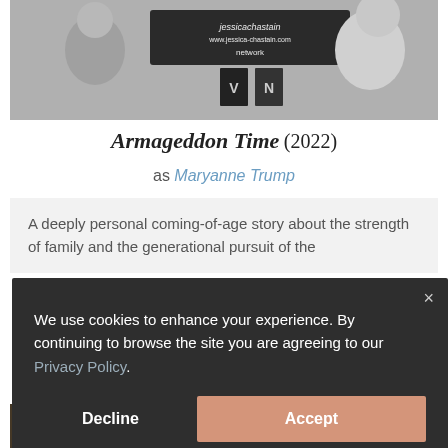[Figure (photo): Black and white photograph showing people at an event with a Jessica Chastain Network banner/sign visible]
Armageddon Time (2022)
as Maryanne Trump
A deeply personal coming-of-age story about the strength of family and the generational pursuit of the
We use cookies to enhance your experience. By continuing to browse the site you are agreeing to our Privacy Policy.
Decline  Accept
[Figure (photo): Bottom strip of a photo visible behind the cookie consent overlay]